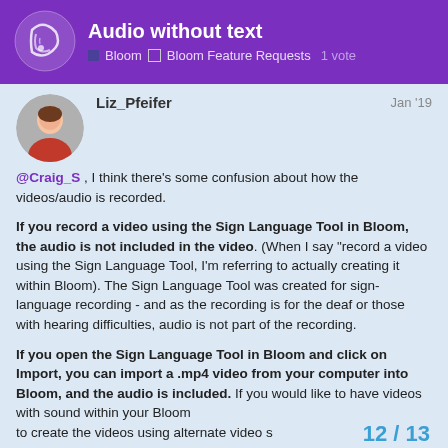Audio without text | Bloom | Bloom Feature Requests | 1 vote
Liz_Pfeifer  Jan '19
@Craig_S , I think there's some confusion about how the videos/audio is recorded.

If you record a video using the Sign Language Tool in Bloom, the audio is not included in the video. (When I say "record a video using the Sign Language Tool, I'm referring to actually creating it within Bloom). The Sign Language Tool was created for sign-language recording - and as the recording is for the deaf or those with hearing difficulties, audio is not part of the recording.

If you open the Sign Language Tool in Bloom and click on Import, you can import a .mp4 video from your computer into Bloom, and the audio is included. If you would like to have videos with sound within your Bloom to create the videos using alternate video s
12 / 13